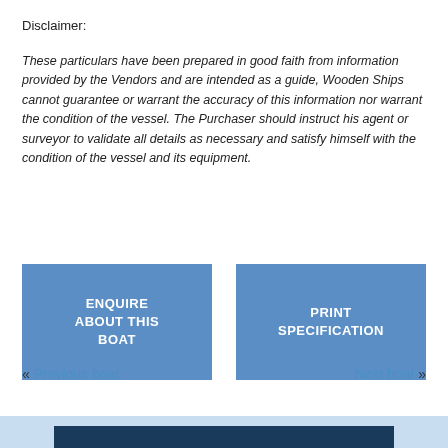Disclaimer:
These particulars have been prepared in good faith from information provided by the Vendors and are intended as a guide, Wooden Ships cannot guarantee or warrant the accuracy of this information nor warrant the condition of the vessel. The Purchaser should instruct his agent or surveyor to validate all details as necessary and satisfy himself with the condition of the vessel and its equipment.
ENQUIRE ABOUT THIS BOAT
PRINT SPECIFICATION
« Previous boat
Next boat »